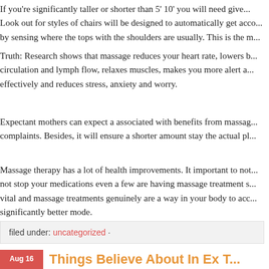If you're significantly taller or shorter than 5' 10' you will need give... Look out for styles of chairs will be designed to automatically get acco... by sensing where the tops with the shoulders are usually. This is the m...
Truth: Research shows that massage reduces your heart rate, lowers b... circulation and lymph flow, relaxes muscles, makes you more alert a... effectively and reduces stress, anxiety and worry.
Expectant mothers can expect a associated with benefits from massag... complaints. Besides, it will ensure a shorter amount stay the actual pl...
Massage therapy has a lot of health improvements. It important to not... not stop your medications even a few are having massage treatment s... vital and massage treatments genuinely are a way in your body to acc... significantly better mode.
filed under: uncategorized ·
Things Believe About In Ex T...